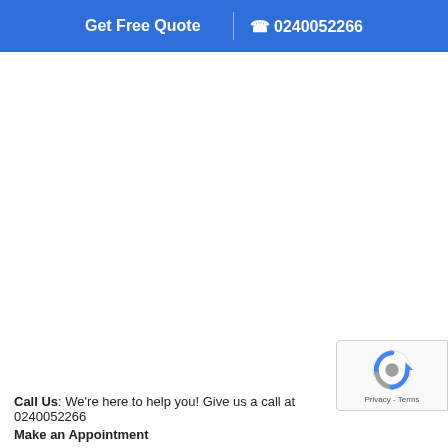Get Free Quote | 0240052266
[Figure (other): reCAPTCHA badge with logo and Privacy/Terms text]
Call Us: We're here to help you! Give us a call at 0240052266
Make an Appointment